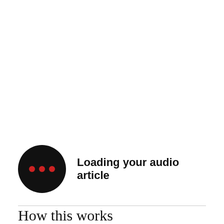[Figure (other): Black circle icon with three small red dots arranged horizontally in the center, representing an audio loading indicator. Next to it is bold text reading 'Loading your audio article'.]
How this works
Every other day, from now through to Christmas, we'll open up